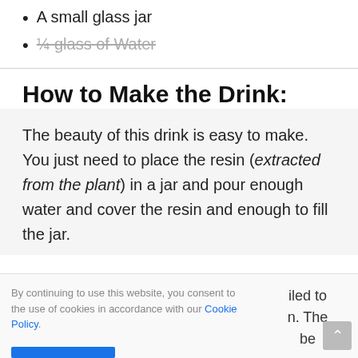A small glass jar
¼ glass of Water
How to Make the Drink:
The beauty of this drink is easy to make. You just need to place the resin (extracted from the plant) in a jar and pour enough water and cover the resin and enough to fill the jar.
By continuing to use this website, you consent to the use of cookies in accordance with our Cookie Policy.
iled to n. The be